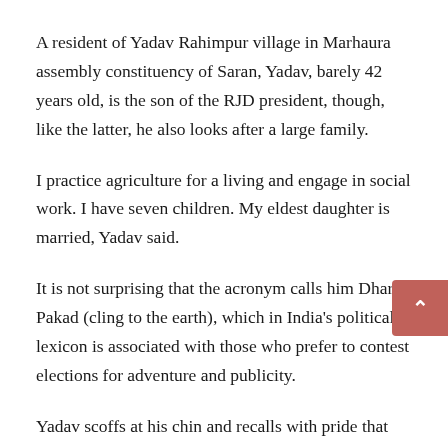A resident of Yadav Rahimpur village in Marhaura assembly constituency of Saran, Yadav, barely 42 years old, is the son of the RJD president, though, like the latter, he also looks after a large family.
I practice agriculture for a living and engage in social work. I have seven children. My eldest daughter is married, Yadav said.
It is not surprising that the acronym calls him Dharti Pakad (cling to the earth), which in India's political lexicon is associated with those who prefer to contest elections for adventure and publicity.
Yadav scoffs at his chin and recalls with pride that the RJD supremo blamed me for the defeat of his wife Rabri Devi in the 2014 Lok Sabha elections.
Former Chief Minister Rabri Devi herself had contested from